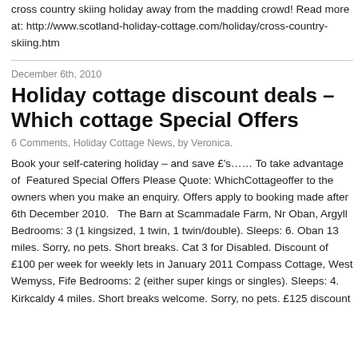cross country skiing holiday away from the madding crowd! Read more at: http://www.scotland-holiday-cottage.com/holiday/cross-country-skiing.htm
December 6th, 2010
Holiday cottage discount deals – Which cottage Special Offers
6 Comments, Holiday Cottage News, by Veronica.
Book your self-catering holiday – and save £'s…… To take advantage of Featured Special Offers Please Quote: WhichCottageoffer to the owners when you make an enquiry. Offers apply to booking made after 6th December 2010.   The Barn at Scammadale Farm, Nr Oban, Argyll Bedrooms: 3 (1 kingsized, 1 twin, 1 twin/double). Sleeps: 6. Oban 13 miles. Sorry, no pets. Short breaks. Cat 3 for Disabled. Discount of £100 per week for weekly lets in January 2011 Compass Cottage, West Wemyss, Fife Bedrooms: 2 (either super kings or singles). Sleeps: 4. Kirkcaldy 4 miles. Short breaks welcome. Sorry, no pets. £125 discount